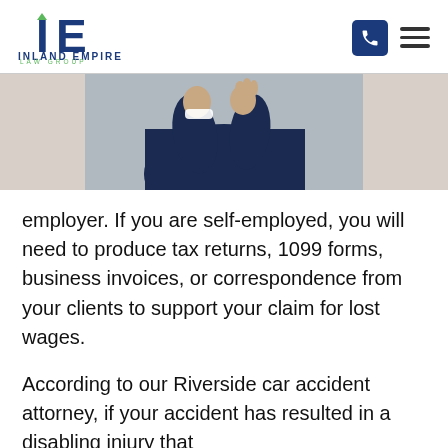Inland Empire Law Group
[Figure (photo): Person in navy blue top holding their wrist/arm, suggesting an injury, against a light grey background.]
employer. If you are self-employed, you will need to produce tax returns, 1099 forms, business invoices, or correspondence from your clients to support your claim for lost wages.
According to our Riverside car accident attorney, if your accident has resulted in a disabling injury that